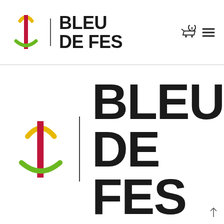[Figure (logo): Bleu de Fes logo in header: Amazigh symbol with yellow arc top, red vertical bar, green arc bottom, beside text BLEU DE FES in bold black, with cart icon showing 0 and hamburger menu icon on right]
[Figure (logo): Bleu de Fes logo large: Amazigh symbol with yellow arc top, red vertical bar, green arc bottom, vertical divider bar, beside large bold text BLEU DE FES]